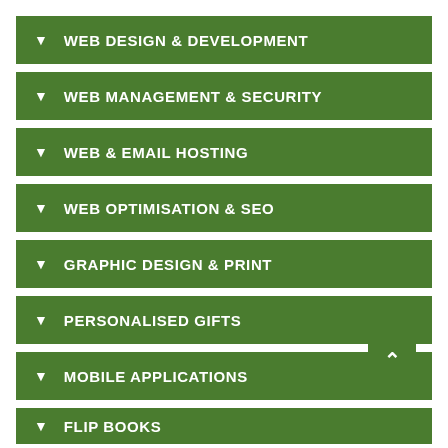WEB DESIGN & DEVELOPMENT
WEB MANAGEMENT & SECURITY
WEB & EMAIL HOSTING
WEB OPTIMISATION & SEO
GRAPHIC DESIGN & PRINT
PERSONALISED GIFTS
MOBILE APPLICATIONS
FLIP BOOKS